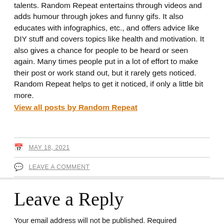talents. Random Repeat entertains through videos and adds humour through jokes and funny gifs. It also educates with infographics, etc., and offers advice like DIY stuff and covers topics like health and motivation. It also gives a chance for people to be heard or seen again. Many times people put in a lot of effort to make their post or work stand out, but it rarely gets noticed. Random Repeat helps to get it noticed, if only a little bit more.
View all posts by Random Repeat
MAY 18, 2021
LEAVE A COMMENT
Leave a Reply
Your email address will not be published. Required